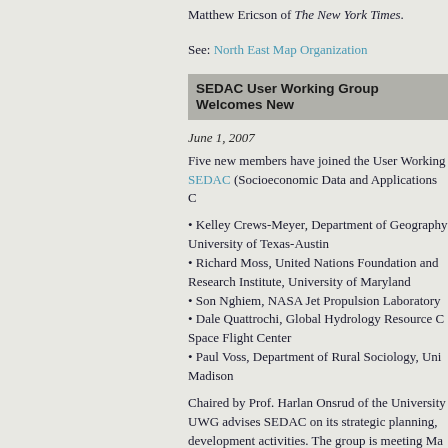Matthew Ericson of The New York Times.
See: North East Map Organization
SEDAC User Working Group Welcomes New
June 1, 2007
Five new members have joined the User Working Group at SEDAC (Socioeconomic Data and Applications C...
Kelley Crews-Meyer, Department of Geography, University of Texas-Austin
Richard Moss, United Nations Foundation and Research Institute, University of Maryland
Son Nghiem, NASA Jet Propulsion Laboratory
Dale Quattrochi, Global Hydrology Resource C... Space Flight Center
Paul Voss, Department of Rural Sociology, University of Wisconsin-Madison
Chaired by Prof. Harlan Onsrud of the University... UWG advises SEDAC on its strategic planning, development activities. The group is meeting May... Campus in Palisades and June 1 at the Morningside... University.
See: SEDAC UWG